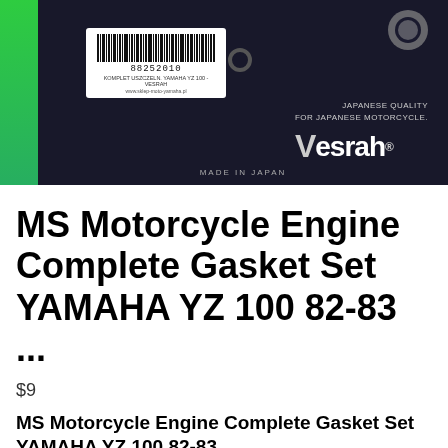[Figure (photo): Product photo of Vesrah MS Motorcycle Engine Complete Gasket Set packaging, showing barcode label with number 88252010, Vesrah brand logo, and text 'JAPANESE QUALITY FOR JAPANESE MOTORCYCLE. MADE IN JAPAN' on dark background with green stripe on left side.]
MS Motorcycle Engine Complete Gasket Set YAMAHA YZ 100 82-83 ...
$9
MS Motorcycle Engine Complete Gasket Set YAMAHA YZ 100 82-83 ...
|||